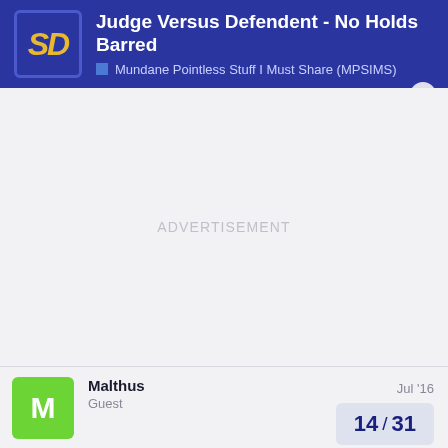Judge Versus Defendent - No Holds Barred · Mundane Pointless Stuff I Must Share (MPSIMS)
ADVERTISEMENT
Malthus
Guest
Jul '16
14 / 31